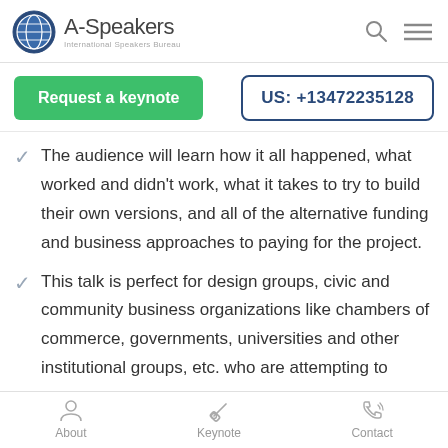A-Speakers International Speakers Bureau
Request a keynote
US: +13472235128
The audience will learn how it all happened, what worked and didn't work, what it takes to try to build their own versions, and all of the alternative funding and business approaches to paying for the project.
This talk is perfect for design groups, civic and community business organizations like chambers of commerce, governments, universities and other institutional groups, etc. who are attempting to
About  Keynote  Contact